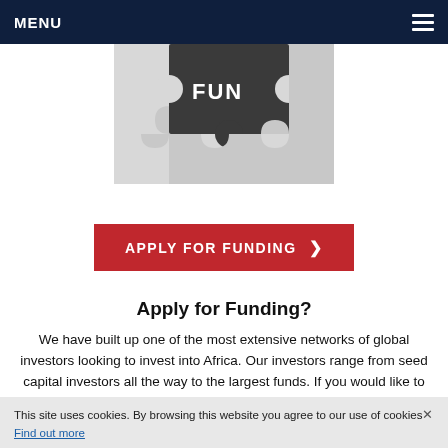MENU
[Figure (photo): Puzzle pieces with one dark piece labeled FUND, representing funding concept]
[Figure (other): Red button reading APPLY FOR FUNDING with right arrow]
Apply for Funding?
We have built up one of the most extensive networks of global investors looking to invest into Africa. Our investors range from seed capital investors all the way to the largest funds. If you would like to Apply For Funding for a project, concept, idea or company in Africa please visit the AFSIC African Investments Dashboard and add details so that investors can view your proposition.
This site uses cookies. By browsing this website you agree to our use of cookies. Find out more